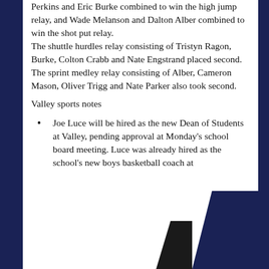Perkins and Eric Burke combined to win the high jump relay, and Wade Melanson and Dalton Alber combined to win the shot put relay. The shuttle hurdles relay consisting of Tristyn Ragon, Burke, Colton Crabb and Nate Engstrand placed second. The sprint medley relay consisting of Alber, Cameron Mason, Oliver Trigg and Nate Parker also took second.
Valley sports notes
Joe Luce will be hired as the new Dean of Students at Valley, pending approval at Monday's school board meeting. Luce was already hired as the school's new boys basketball coach at